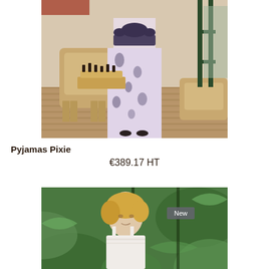[Figure (photo): Fashion product photo showing a person wearing floral-patterned wide-leg pyjama trousers with a dark ribbon belt tie, standing in an elegant room with ornate gold chairs and a chess set on a table. Wearing strappy heeled sandals.]
Pyjamas Pixie
€389.17 HT
[Figure (photo): Fashion product photo showing a blonde woman wearing a white spaghetti-strap garment, photographed in a tropical greenhouse setting with large green leaves. A 'New' badge is visible in the top right corner of the image.]